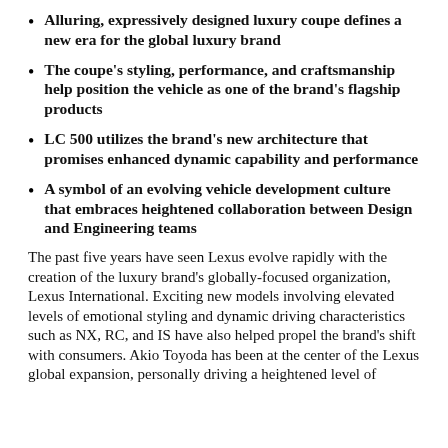Alluring, expressively designed luxury coupe defines a new era for the global luxury brand
The coupe's styling, performance, and craftsmanship help position the vehicle as one of the brand's flagship products
LC 500 utilizes the brand's new architecture that promises enhanced dynamic capability and performance
A symbol of an evolving vehicle development culture that embraces heightened collaboration between Design and Engineering teams
The past five years have seen Lexus evolve rapidly with the creation of the luxury brand's globally-focused organization, Lexus International. Exciting new models involving elevated levels of emotional styling and dynamic driving characteristics such as NX, RC, and IS have also helped propel the brand's shift with consumers. Akio Toyoda has been at the center of the Lexus global expansion, personally driving a heightened level of